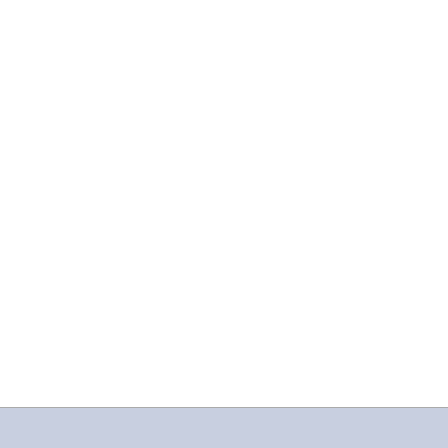It is not a very large wire problem with items powered will affect the voltage ava added item is an electro best added directly on th and separately fused. Al underhood wires comes switch and is on in both
You might carefully exam under the dash. Even th fuseholders and wire ter corrode or oxidize result
Howard
[Figure (screenshot): Up arrow icon button and envelope/letter icon button in action bar]
humanpotatohybrid | Re: Someone hooked th new member 55 Clipper
Home away from home
[Figure (photo): Photo of a classic car (appears to be a 55 Clipper) parked near a building with palm trees]
Thanks for the helpful in out more.